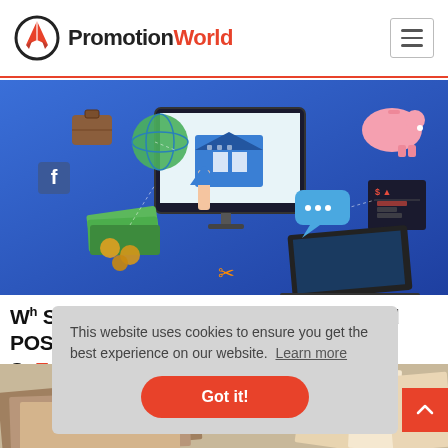PromotionWorld
[Figure (illustration): Digital finance/fintech hero image with a monitor showing a house, surrounded by floating money, coins, globe, piggy bank, briefcase, laptop, and credit card icons on a blue background]
W' Should You Switch to a Cloud-Based POS Sy... EC...
[Figure (screenshot): Cookie consent banner overlay reading: This website uses cookies to ensure you get the best experience on our website. Learn more. Got it! button]
[Figure (photo): Bottom strip showing books/documents with word 'Strategy' visible]